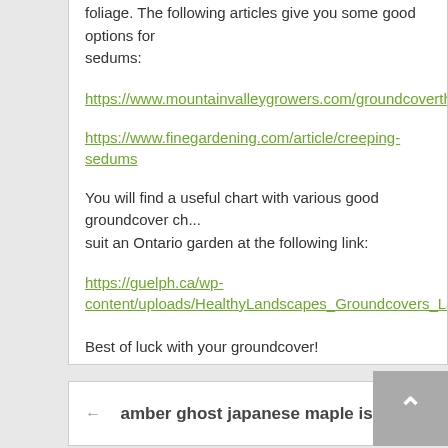foliage. The following articles give you some good options for sedums:
https://www.mountainvalleygrowers.com/groundcoverthymes
https://www.finegardening.com/article/creeping-sedums
You will find a useful chart with various good groundcover choices to suit an Ontario garden at the following link:
https://guelph.ca/wp-content/uploads/HealthyLandscapes_Groundcovers_Lawn_A
Best of luck with your groundcover!
← amber ghost japanese maple is green